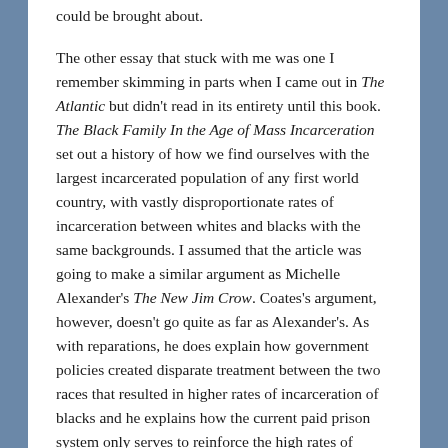could be brought about.
The other essay that stuck with me was one I remember skimming in parts when I came out in The Atlantic but didn't read in its entirety until this book. The Black Family In the Age of Mass Incarceration set out a history of how we find ourselves with the largest incarcerated population of any first world country, with vastly disproportionate rates of incarceration between whites and blacks with the same backgrounds. I assumed that the article was going to make a similar argument as Michelle Alexander's The New Jim Crow. Coates's argument, however, doesn't go quite as far as Alexander's. As with reparations, he does explain how government policies created disparate treatment between the two races that resulted in higher rates of incarceration of blacks and he explains how the current paid prison system only serves to reinforce the high rates of incarceration. (In a nutshell—when prison becomes a business, bodies become the commodities that must be obtained at high rates to keep the